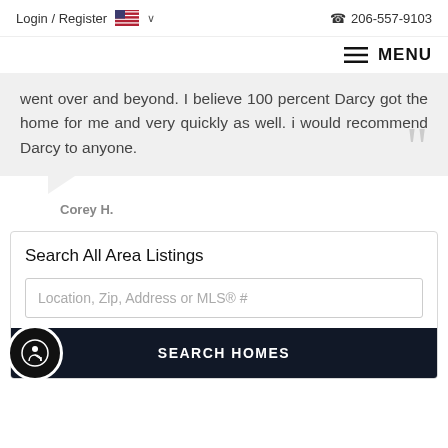Login / Register   206-557-9103
MENU
went over and beyond. I believe 100 percent Darcy got the home for me and very quickly as well. i would recommend Darcy to anyone.
Corey H.
Search All Area Listings
Location, Zip, Address or MLS® #
SEARCH HOMES